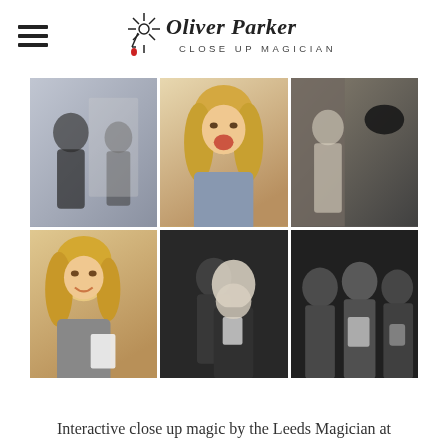[Figure (logo): Oliver Parker Close Up Magician logo with decorative star/wand icon and handwritten-style text]
[Figure (photo): Grid of 6 photos showing a close-up magician performing for audiences. Top row: color photos - man reacting in surprise, woman with long blonde hair laughing with mouth open, two women reacting to magic in dark venue. Bottom row: black and white photos - blonde woman smiling holding card, performer with female audience member, group of women watching card trick.]
Interactive close up magic by the Leeds Magician at